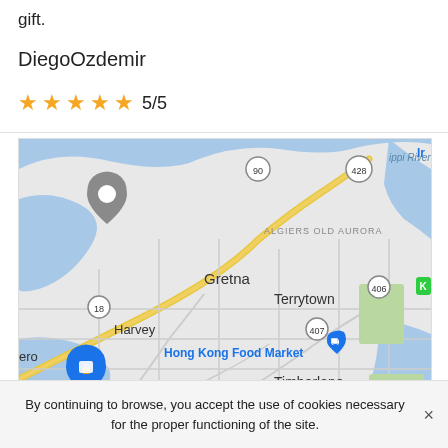gift.
DiegoOzdemir
★★★★★ 5/5
[Figure (map): Google Maps view showing Gretna, Terrytown, Harvey, Timberlane, and Hong Kong Food Market area near New Orleans, Louisiana. Shows highway 90, 428, 18, 406, 407, 3017, 3137 and the Mississippi River.]
By continuing to browse, you accept the use of cookies necessary for the proper functioning of the site.